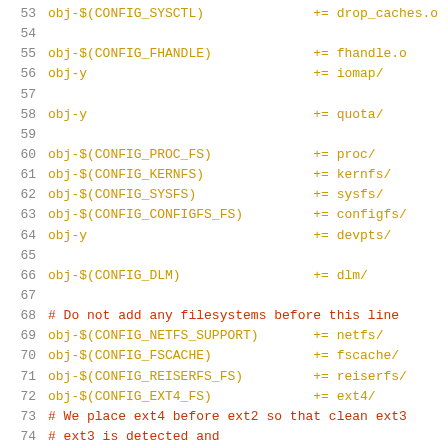53  obj-$(CONFIG_SYSCTL)              += drop_caches.o
54
55  obj-$(CONFIG_FHANDLE)             += fhandle.o
56  obj-y                             += iomap/
57
58  obj-y                             += quota/
59
60  obj-$(CONFIG_PROC_FS)             += proc/
61  obj-$(CONFIG_KERNFS)              += kernfs/
62  obj-$(CONFIG_SYSFS)               += sysfs/
63  obj-$(CONFIG_CONFIGFS_FS)         += configfs/
64  obj-y                             += devpts/
65
66  obj-$(CONFIG_DLM)                 += dlm/
67
68  # Do not add any filesystems before this line
69  obj-$(CONFIG_NETFS_SUPPORT)       += netfs/
70  obj-$(CONFIG_FSCACHE)             += fscache/
71  obj-$(CONFIG_REISERFS_FS)         += reiserfs/
72  obj-$(CONFIG_EXT4_FS)             += ext4/
73  # We place ext4 before ext2 so that clean ext3
74  # ...